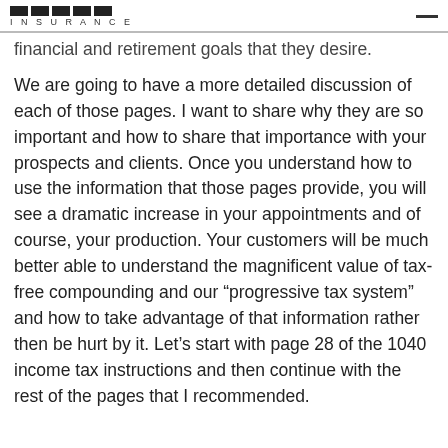INSURANCE
financial and retirement goals that they desire.
We are going to have a more detailed discussion of each of those pages. I want to share why they are so important and how to share that importance with your prospects and clients. Once you understand how to use the information that those pages provide, you will see a dramatic increase in your appointments and of course, your production. Your customers will be much better able to understand the magnificent value of tax-free compounding and our “progressive tax system” and how to take advantage of that information rather then be hurt by it. Let’s start with page 28 of the 1040 income tax instructions and then continue with the rest of the pages that I recommended.